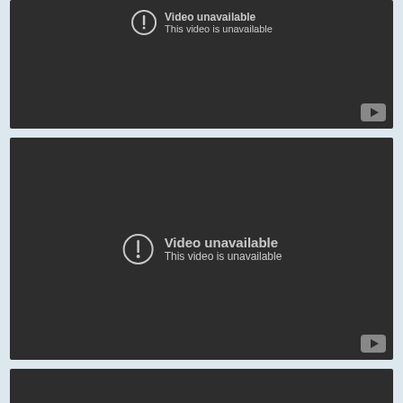[Figure (screenshot): YouTube video unavailable placeholder - first video block, dark background with exclamation icon and 'Video unavailable / This video is unavailable' text, YouTube icon bottom right]
[Figure (screenshot): YouTube video unavailable placeholder - second video block, dark background with exclamation icon and 'Video unavailable / This video is unavailable' text centered, YouTube icon bottom right]
[Figure (screenshot): YouTube video unavailable placeholder - third video block (partially visible), dark background]